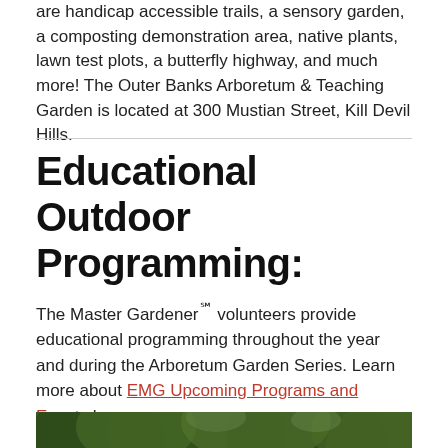are handicap accessible trails, a sensory garden, a composting demonstration area, native plants, lawn test plots, a butterfly highway, and much more! The Outer Banks Arboretum & Teaching Garden is located at 300 Mustian Street, Kill Devil Hills.
Educational Outdoor Programming:
The Master Gardener℠ volunteers provide educational programming throughout the year and during the Arboretum Garden Series. Learn more about EMG Upcoming Programs and Events here.
[Figure (photo): Outdoor photo showing a person among trees with green leafy canopy in the background]